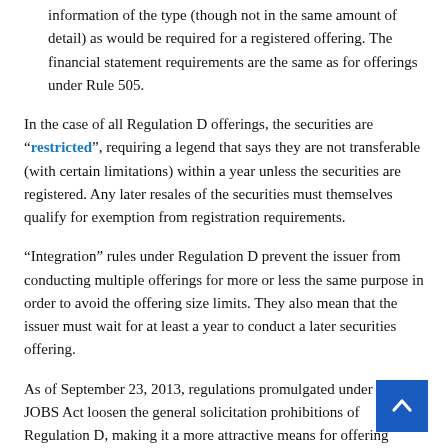information of the type (though not in the same amount of detail) as would be required for a registered offering. The financial statement requirements are the same as for offerings under Rule 505.
In the case of all Regulation D offerings, the securities are "restricted", requiring a legend that says they are not transferable (with certain limitations) within a year unless the securities are registered. Any later resales of the securities must themselves qualify for exemption from registration requirements.
"Integration" rules under Regulation D prevent the issuer from conducting multiple offerings for more or less the same purpose in order to avoid the offering size limits. They also mean that the issuer must wait for at least a year to conduct a later securities offering.
As of September 23, 2013, regulations promulgated under the JOBS Act loosen the general solicitation prohibitions of Regulation D, making it a more attractive means for offering